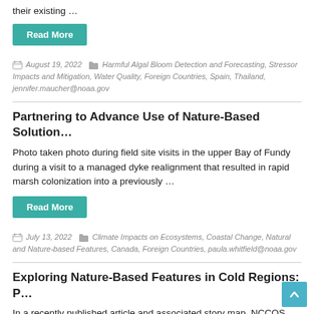their existing …
Read More
August 19, 2022  Harmful Algal Bloom Detection and Forecasting, Stressor Impacts and Mitigation, Water Quality, Foreign Countries, Spain, Thailand, jennifer.maucher@noaa.gov
Partnering to Advance Use of Nature-Based Solution…
Photo taken photo during field site visits in the upper Bay of Fundy during a visit to a managed dyke realignment that resulted in rapid marsh colonization into a previously …
Read More
July 13, 2022  Climate Impacts on Ecosystems, Coastal Change, Natural and Nature-based Features, Canada, Foreign Countries, paula.whitfield@noaa.gov
Exploring Nature-Based Features in Cold Regions: P…
In a recently published article and associated story map, NCCOS highlights a new research partnership with the U.S. Army Corps of